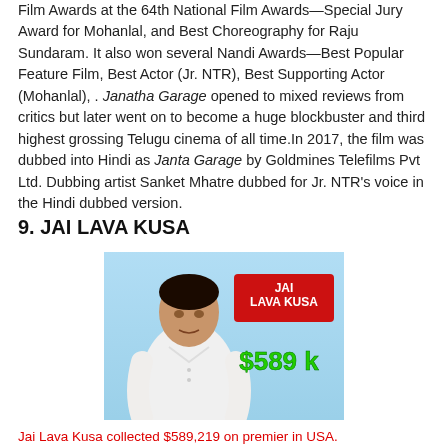Film Awards at the 64th National Film Awards—Special Jury Award for Mohanlal, and Best Choreography for Raju Sundaram. It also won several Nandi Awards—Best Popular Feature Film, Best Actor (Jr. NTR), Best Supporting Actor (Mohanlal), . Janatha Garage opened to mixed reviews from critics but later went on to become a huge blockbuster and third highest grossing Telugu cinema of all time.In 2017, the film was dubbed into Hindi as Janta Garage by Goldmines Telefilms Pvt Ltd. Dubbing artist Sanket Mhatre dubbed for Jr. NTR's voice in the Hindi dubbed version.
9. JAI LAVA KUSA
[Figure (photo): Movie poster for Jai Lava Kusa showing a man in a white shirt with text 'JAI LAVA KUSA' in red and '$589 k' in green on a light blue background.]
Jai Lava Kusa collected $589,219 on premier in USA.
Jai Lava Kusa is a 2017 Indian Telugu-language action-drama film written and directed by K. S. Ravindra. The movie features Jr. NTR, Raashi Khanna and Nivetha Thomas in the lead roles.